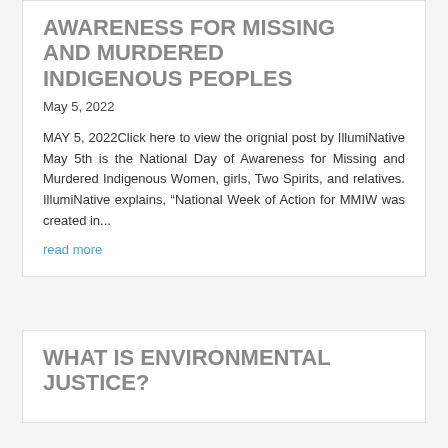AWARENESS FOR MISSING AND MURDERED INDIGENOUS PEOPLES
May 5, 2022
MAY 5, 2022Click here to view the orignial post by IllumiNative May 5th is the National Day of Awareness for Missing and Murdered Indigenous Women, girls, Two Spirits, and relatives. IllumiNative explains, “National Week of Action for MMIW was created in...
read more
WHAT IS ENVIRONMENTAL JUSTICE?